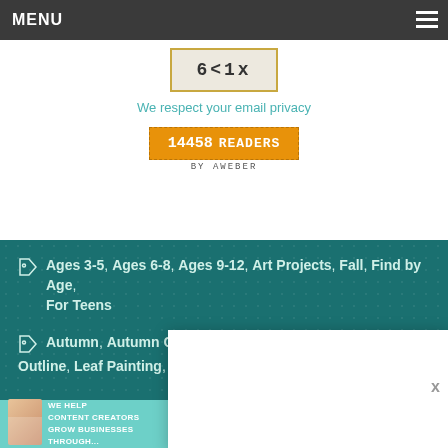MENU
[Figure (screenshot): Security captcha image with characters]
We respect your email privacy
[Figure (screenshot): AWeber badge showing 14458 READERS BY AWEBER]
Ages 3-5, Ages 6-8, Ages 9-12, Art Projects, Fall, Find by Age, For Teens
Autumn, Autumn Crafts, Leaf Outline, Leaf Painting, Painting, Watercolor, Watercolor Painting
[Figure (screenshot): SHE Partner Network advertisement banner: We help content creators grow businesses through... Learn More]